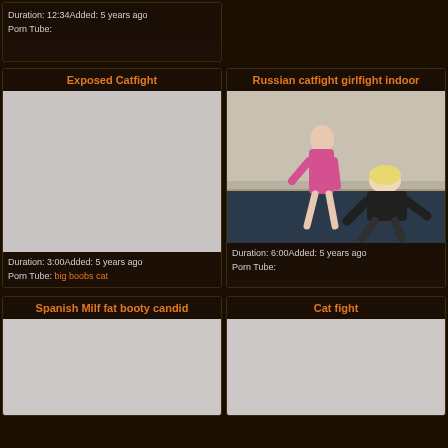Duration: 12:34Added: 5 years ago
Porn Tube:
[Figure (screenshot): Empty right cell top]
Exposed Catfight
Russian catfight girlfight indoor
[Figure (photo): Gray placeholder thumbnail for Exposed Catfight video]
[Figure (photo): Photo of two women fighting indoors, one in pink outfit standing, one in black crouching]
Duration: 3:00Added: 5 years ago
Porn Tube: big boobs cat
Duration: 6:00Added: 5 years ago
Porn Tube:
Spanish Milf fat booty candid
Cat fight
[Figure (photo): Gray placeholder thumbnail for Spanish Milf fat booty candid video]
[Figure (photo): Gray placeholder thumbnail for Cat fight video]